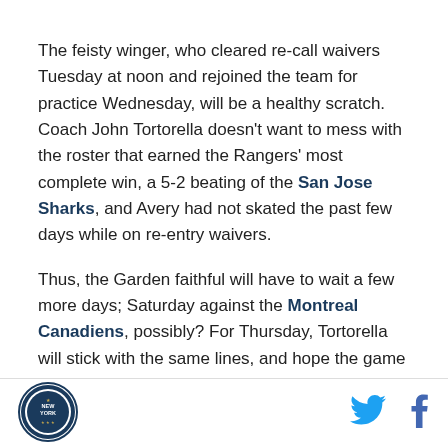The feisty winger, who cleared re-call waivers Tuesday at noon and rejoined the team for practice Wednesday, will be a healthy scratch. Coach John Tortorella doesn't want to mess with the roster that earned the Rangers' most complete win, a 5-2 beating of the San Jose Sharks, and Avery had not skated the past few days while on re-entry waivers.
Thus, the Garden faithful will have to wait a few more days; Saturday against the Montreal Canadiens, possibly? For Thursday, Tortorella will stick with the same lines, and hope the game against the Sharks
[Figure (logo): New York circular logo/seal in bottom left footer]